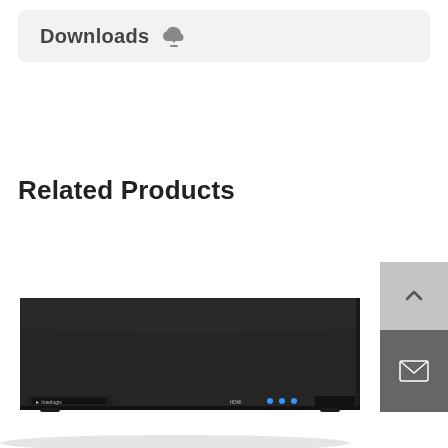Downloads
Related Products
[Figure (photo): Black NVR/DVR security recorder device with Interlogix branding, front panel showing blue LED indicators and HDMI label, viewed from a slight angle]